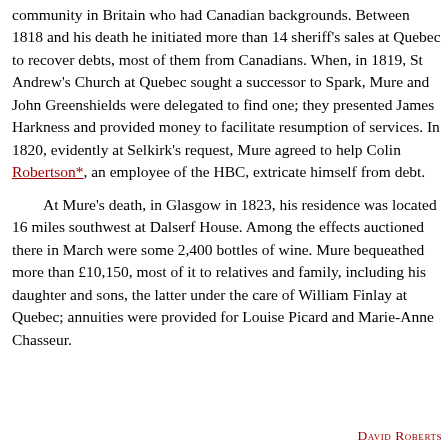community in Britain who had Canadian backgrounds. Between 1818 and his death he initiated more than 14 sheriff's sales at Quebec to recover debts, most of them from Canadians. When, in 1819, St Andrew's Church at Quebec sought a successor to Spark, Mure and John Greenshields were delegated to find one; they presented James Harkness and provided money to facilitate resumption of services. In 1820, evidently at Selkirk's request, Mure agreed to help Colin Robertson*, an employee of the HBC, extricate himself from debt.
At Mure's death, in Glasgow in 1823, his residence was located 16 miles southwest at Dalserf House. Among the effects auctioned there in March were some 2,400 bottles of wine. Mure bequeathed more than £10,150, most of it to relatives and family, including his daughter and sons, the latter under the care of William Finlay at Quebec; annuities were provided for Louise Picard and Marie-Anne Chasseur.
David Roberts